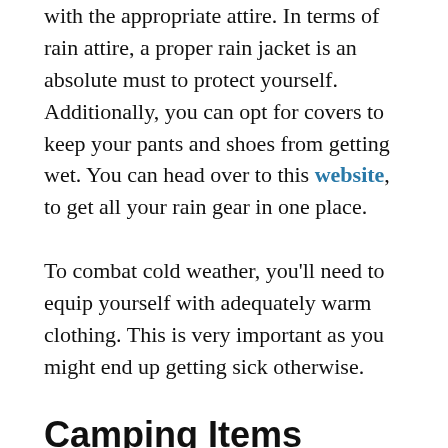with the appropriate attire. In terms of rain attire, a proper rain jacket is an absolute must to protect yourself. Additionally, you can opt for covers to keep your pants and shoes from getting wet. You can head over to this website, to get all your rain gear in one place.
To combat cold weather, you'll need to equip yourself with adequately warm clothing. This is very important as you might end up getting sick otherwise.
Camping Items
Unless you're planning to spend every night on the tour in a motel or hotel, you'll need to bring camping gear with you. Even if you are, we still recommend that